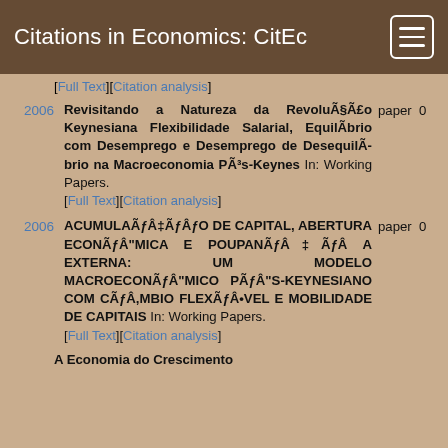Citations in Economics: CitEc
[Full Text][Citation analysis]
2006 — Revisitando a Natureza da Revolução Keynesiana Flexibilidade Salarial, Equilíbrio com Desemprego e Desemprego de Desequilíbrio na Macroeconomia Pós-Keynes In: Working Papers. [Full Text][Citation analysis] paper 0
2006 — ACUMULAÇÃO DE CAPITAL, ABERTURA ECONÔMICA E POUPANÇA EXTERNA: UM MODELO MACROECONÔMICO PÓS-KEYNESIANO COM CÂMBIO FLEXÍVEL E MOBILIDADE DE CAPITAIS In: Working Papers. [Full Text][Citation analysis] paper 0
A Economia do Crescimento